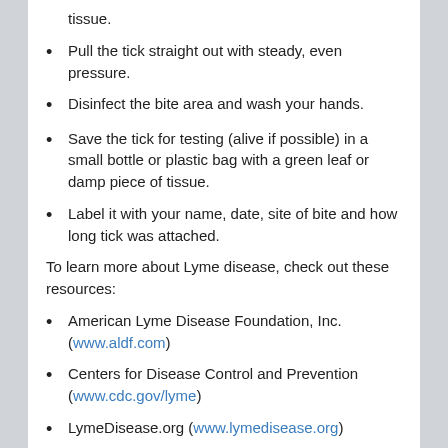tissue.
Pull the tick straight out with steady, even pressure.
Disinfect the bite area and wash your hands.
Save the tick for testing (alive if possible) in a small bottle or plastic bag with a green leaf or damp piece of tissue.
Label it with your name, date, site of bite and how long tick was attached.
To learn more about Lyme disease, check out these resources:
American Lyme Disease Foundation, Inc. (www.aldf.com)
Centers for Disease Control and Prevention (www.cdc.gov/lyme)
LymeDisease.org (www.lymedisease.org)